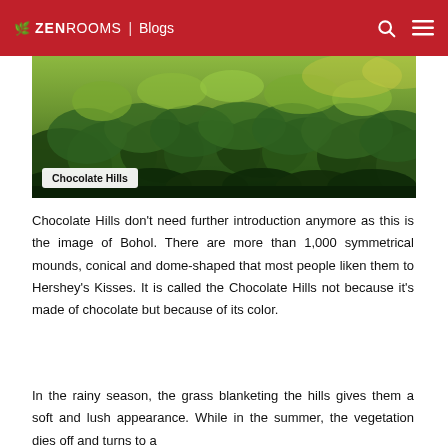ZEN ROOMS | Blogs
[Figure (photo): Aerial view of Chocolate Hills in Bohol showing lush green tree-covered mounds and dense tropical forest vegetation]
Chocolate Hills
Chocolate Hills don't need further introduction anymore as this is the image of Bohol. There are more than 1,000 symmetrical mounds, conical and dome-shaped that most people liken them to Hershey's Kisses. It is called the Chocolate Hills not because it's made of chocolate but because of its color.
In the rainy season, the grass blanketing the hills gives them a soft and lush appearance. While in the summer, the vegetation dies off and turns to a chocolate brown color, giving them their...